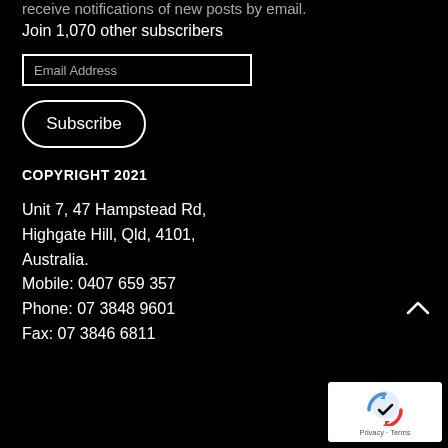receive notifications of new posts by email.
Join 1,070 other subscribers
Email Address
Subscribe
COPYRIGHT 2021
Unit 7, 47 Hampstead Rd,
Highgate Hill, Qld, 4101,
Australia.
Mobile: 0407 659 357
Phone: 07 3848 9601
Fax: 07 3846 6811
[Figure (other): reCAPTCHA widget with Privacy and Terms links]